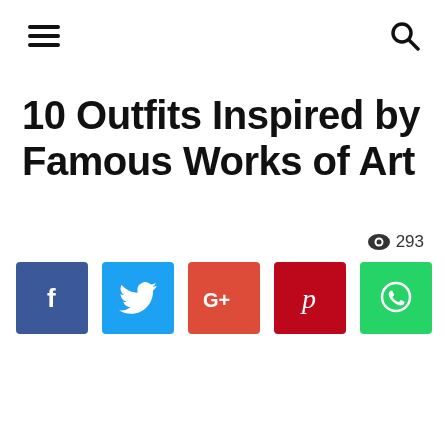≡  🔍
10 Outfits Inspired by Famous Works of Art
👁 293
[Figure (infographic): Row of five social share buttons: Facebook (blue), Twitter (light blue), Google+ (red), Pinterest (dark red), WhatsApp (green)]